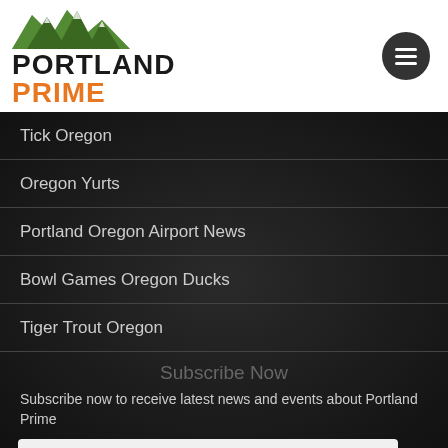[Figure (logo): Portland Prime logo with mountain silhouette graphic above the text PORTLAND in black and PRIME in orange]
Tick Oregon
Oregon Yurts
Portland Oregon Airport News
Bowl Games Oregon Ducks
Tiger Trout Oregon
Subscribe Now
Subscribe now to receive latest news and events about Portland Prime
INPUT YOUR EMAIL ADDRESS